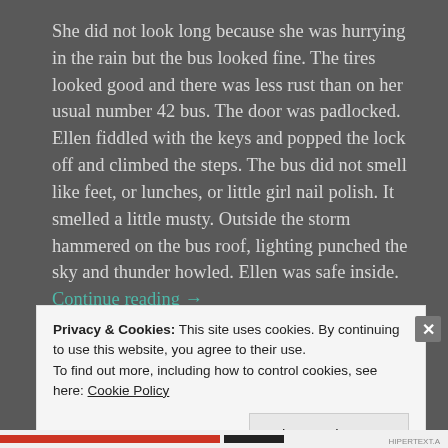She did not look long because she was hurrying in the rain but the bus looked fine.  The tires looked good and there was less rust than on her usual number 42 bus.  The door was padlocked.  Ellen fiddled with the keys and popped the lock off and climbed the steps.  The bus did not smell like feet, or lunches, or little girl nail polish.  It smelled a little musty.  Outside the storm hammered on the bus roof, lighting punched the sky and thunder howled.  Ellen was safe inside.  Continue reading →
Share this:
Privacy & Cookies: This site uses cookies. By continuing to use this website, you agree to their use.
To find out more, including how to control cookies, see here: Cookie Policy
Close and accept